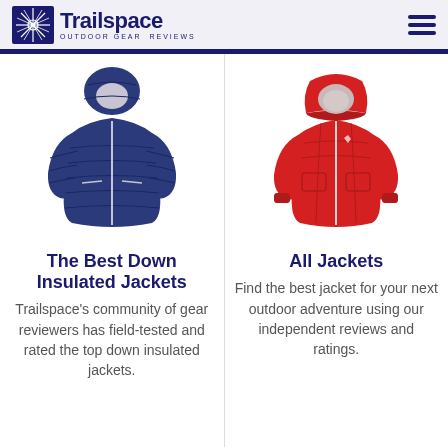Trailspace — OUTDOOR GEAR REVIEWS
[Figure (photo): Navy blue hooded down insulated jacket (Patagonia style) on white background]
The Best Down Insulated Jackets
Trailspace's community of gear reviewers has field-tested and rated the top down insulated jackets.
[Figure (photo): Bright red hooded shell jacket (Arc'teryx style) on white background]
All Jackets
Find the best jacket for your next outdoor adventure using our independent reviews and ratings.